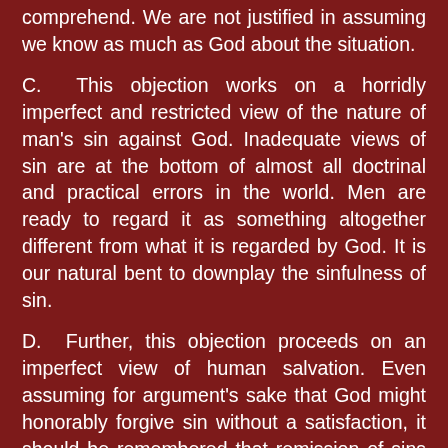comprehend. We are not justified in assuming we know as much as God about the situation.
C. This objection works on a horridly imperfect and restricted view of the nature of man's sin against God. Inadequate views of sin are at the bottom of almost all doctrinal and practical errors in the world. Men are ready to regard it as something altogether different from what it is regarded by God. It is our natural bent to downplay the sinfulness of sin.
D. Further, this objection proceeds on an imperfect view of human salvation. Even assuming for argument's sake that God might honorably forgive sin without a satisfaction, it should be remembered that remission of sins is not the whole of salvation. In other words, salvation entails more than mere pardon of sins. Supposing that God could forgive sins without a satisfaction, this leaves completely untouched all the other areas of salvation.